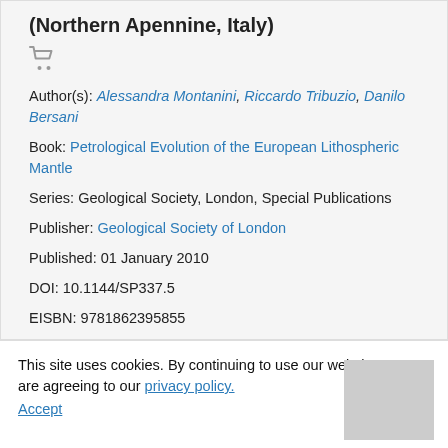(Northern Apennine, Italy)
Author(s): Alessandra Montanini, Riccardo Tribuzio, Danilo Bersani
Book: Petrological Evolution of the European Lithospheric Mantle
Series: Geological Society, London, Special Publications
Publisher: Geological Society of London
Published: 01 January 2010
DOI: 10.1144/SP337.5
EISBN: 9781862395855
FIGURES | View All (8)
This site uses cookies. By continuing to use our website, you are agreeing to our privacy policy. Accept